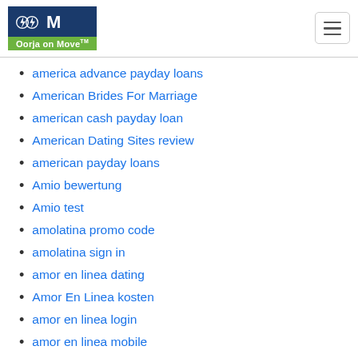Oorja on Move™
america advance payday loans
American Brides For Marriage
american cash payday loan
American Dating Sites review
american payday loans
Amio bewertung
Amio test
amolatina promo code
amolatina sign in
amor en linea dating
Amor En Linea kosten
amor en linea login
amor en linea mobile
amor en linea mobile site
Amor en Linea username